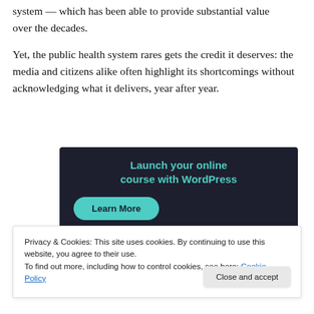system — which has been able to provide substantial value over the decades.
Yet, the public health system rares gets the credit it deserves: the media and citizens alike often highlight its shortcomings without acknowledging what it delivers, year after year.
[Figure (other): Advertisement banner with dark background reading 'Launch your online course with WordPress' and a teal 'Learn More' button.]
Privacy & Cookies: This site uses cookies. By continuing to use this website, you agree to their use.
To find out more, including how to control cookies, see here: Cookie Policy
Close and accept